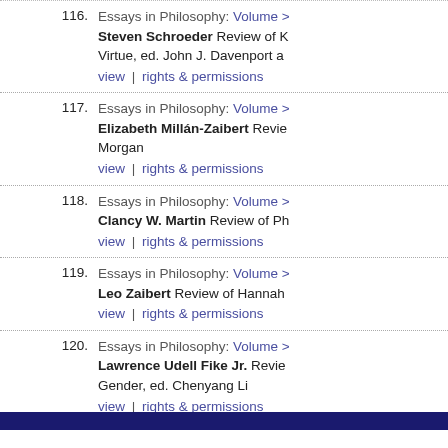116. Essays in Philosophy: Volume > Steven Schroeder Review of K Virtue, ed. John J. Davenport a view | rights & permissions
117. Essays in Philosophy: Volume > Elizabeth Millán-Zaibert Revie Morgan view | rights & permissions
118. Essays in Philosophy: Volume > Clancy W. Martin Review of Ph view | rights & permissions
119. Essays in Philosophy: Volume > Leo Zaibert Review of Hannah view | rights & permissions
120. Essays in Philosophy: Volume > Lawrence Udell Fike Jr. Revie Gender, ed. Chenyang Li view | rights & permissions